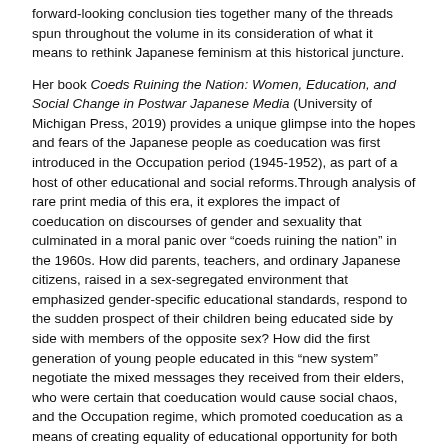forward-looking conclusion ties together many of the threads spun throughout the volume in its consideration of what it means to rethink Japanese feminism at this historical juncture.
Her book Coeds Ruining the Nation: Women, Education, and Social Change in Postwar Japanese Media (University of Michigan Press, 2019) provides a unique glimpse into the hopes and fears of the Japanese people as coeducation was first introduced in the Occupation period (1945-1952), as part of a host of other educational and social reforms.Through analysis of rare print media of this era, it explores the impact of coeducation on discourses of gender and sexuality that culminated in a moral panic over “coeds ruining the nation” in the 1960s. How did parents, teachers, and ordinary Japanese citizens, raised in a sex-segregated environment that emphasized gender-specific educational standards, respond to the sudden prospect of their children being educated side by side with members of the opposite sex? How did the first generation of young people educated in this “new system” negotiate the mixed messages they received from their elders, who were certain that coeducation would cause social chaos, and the Occupation regime, which promoted coeducation as a means of creating equality of educational opportunity for both sexes? This book is the first in the English language to explore such questions in depth, through examination of arguments made for and against coeducation in newspaper and magazine articles, cartoons, student-authored school newsletters, and roundtable discussions published in the Japanese press of the late 1940s, as these reforms were being implemented.
Dr. Bullock is currently at work on a book project that is tentatively titled Beauvoir’s Japanese Daughters: Postwar Japanese Feminism and The Second Sex. This study explores the translation and reception of the life and work of this famous French